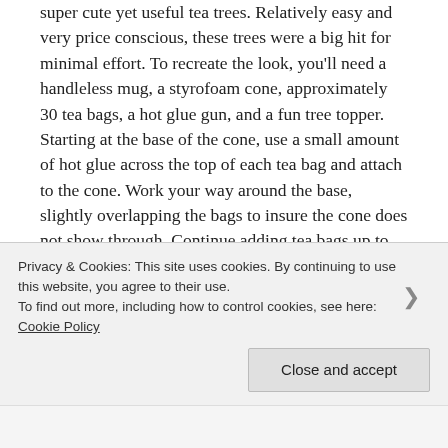super cute yet useful tea trees. Relatively easy and very price conscious, these trees were a big hit for minimal effort. To recreate the look, you'll need a handleless mug, a styrofoam cone, approximately 30 tea bags, a hot glue gun, and a fun tree topper. Starting at the base of the cone, use a small amount of hot glue across the top of each tea bag and attach to the cone. Work your way around the base, slightly overlapping the bags to insure the cone does not show through. Continue adding tea bags up to the top of the cone and finish off with your chosen tree topper. To affix the mug base, cut a separate block of styrofoam that fits snugly inside the mug and glue to the underside of the cone. For added visual interest, use a variety of differently colored tea bags. And that's it! Thanks so much for
Privacy & Cookies: This site uses cookies. By continuing to use this website, you agree to their use.
To find out more, including how to control cookies, see here: Cookie Policy
Close and accept